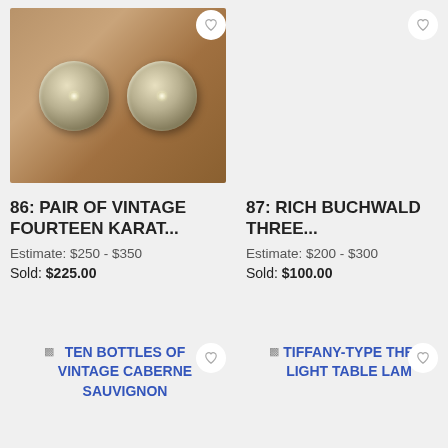[Figure (photo): Photo of a pair of vintage fourteen karat gold earrings on a wooden surface]
[Figure (photo): Missing/broken image for item 87 Rich Buchwald Three]
86: PAIR OF VINTAGE FOURTEEN KARAT...
Estimate: $250 - $350
Sold: $225.00
87: RICH BUCHWALD THREE...
Estimate: $200 - $300
Sold: $100.00
[Figure (photo): Broken image placeholder for Ten Bottles of Vintage Cabernet Sauvignon]
[Figure (photo): Broken image placeholder for Tiffany-Type Three-Light Table Lamp]